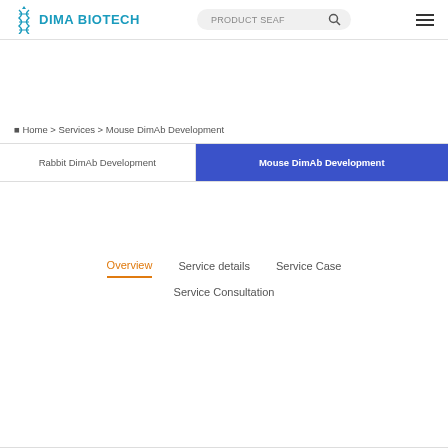DIMA BIOTECH | PRODUCT SEARCH
Home > Services > Mouse DimAb Development
Rabbit DimAb Development | Mouse DimAb Development
Overview   Service details   Service Case   Service Consultation